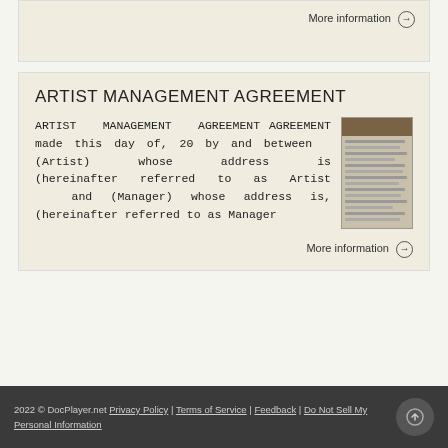More information →
ARTIST MANAGEMENT AGREEMENT
ARTIST MANAGEMENT AGREEMENT AGREEMENT made this day of, 20 by and between (Artist) whose address is (hereinafter referred to as Artist and (Manager) whose address is, (hereinafter referred to as Manager
More information →
2022 © DocPlayer.net Privacy Policy | Terms of Service | Feedback | Do Not Sell My Personal Information